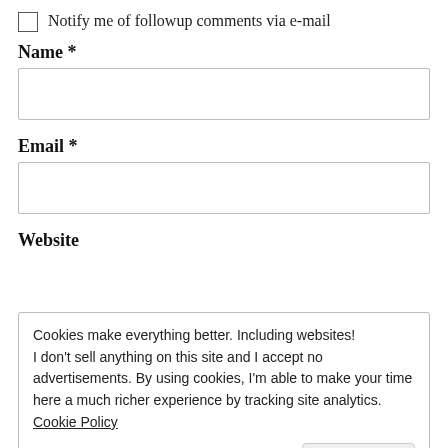Notify me of followup comments via e-mail
Name *
[Figure (other): Text input field for Name]
Email *
[Figure (other): Text input field for Email]
Website
Cookies make everything better. Including websites! I don't sell anything on this site and I accept no advertisements. By using cookies, I'm able to make your time here a much richer experience by tracking site analytics. Cookie Policy
OK, I got it.
Notify me of new posts by email.